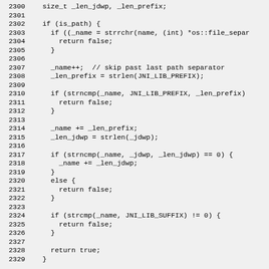[Figure (other): Source code snippet in C/C++ showing lines 2300-2329 with line numbers on the left and code on the right, on a light gray background.]